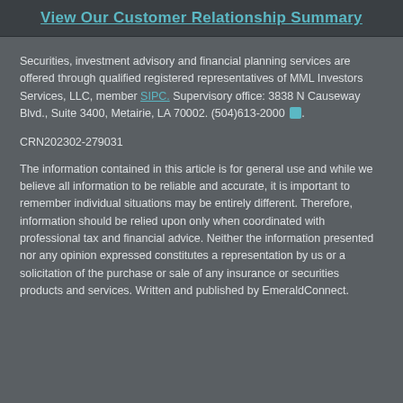View Our Customer Relationship Summary
Securities, investment advisory and financial planning services are offered through qualified registered representatives of MML Investors Services, LLC, member SIPC. Supervisory office: 3838 N Causeway Blvd., Suite 3400, Metairie, LA 70002. (504)613-2000.
CRN202302-279031
The information contained in this article is for general use and while we believe all information to be reliable and accurate, it is important to remember individual situations may be entirely different. Therefore, information should be relied upon only when coordinated with professional tax and financial advice. Neither the information presented nor any opinion expressed constitutes a representation by us or a solicitation of the purchase or sale of any insurance or securities products and services. Written and published by EmeraldConnect.